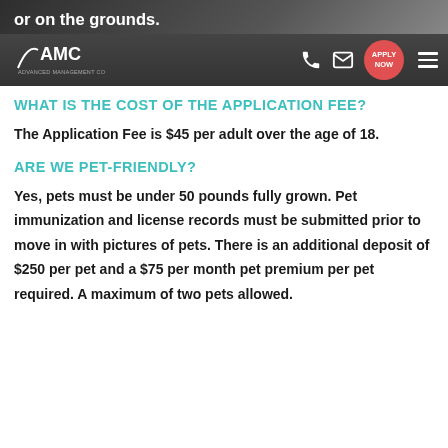or on the grounds.
[Figure (logo): AMC Advanced Management Company logo in white on dark nav bar with phone icon, email icon, APPLY NOW red circle button, and hamburger menu]
WHAT IS THE COST OF THE APPLICATION FEE?
The Application Fee is $45 per adult over the age of 18.
ARE WE PET-FRIENDLY?
Yes, pets must be under 50 pounds fully grown. Pet immunization and license records must be submitted prior to move in with pictures of pets. There is an additional deposit of $250 per pet and a $75 per month pet premium per pet required. A maximum of two pets allowed.